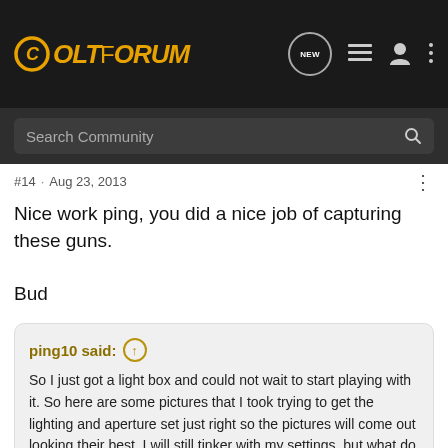ColtForum - Search Community header with navigation icons
#14 · Aug 23, 2013
Nice work ping, you did a nice job of capturing these guns.

Bud
ping10 said: ↑
So I just got a light box and could not wait to start playing with it. So here are some pictures that I took trying to get the lighting and aperture set just right so the pictures will come out looking their best. I will still tinker with my settings, but what do you think so far......

57 Python
[Figure (advertisement): Bass Pro Shops Bargain Cave Hunting Clearance Shop Now advertisement banner]